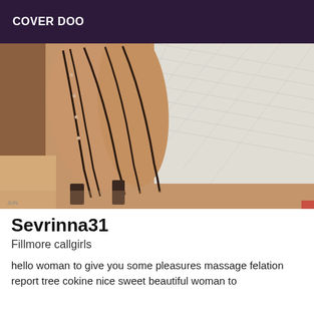COVER DOO
[Figure (photo): Close-up photo of legs wearing high-heeled stiletto shoes with strappy black details, lying on or near a textured white surface/blanket]
Sevrinna31
Fillmore callgirls
hello woman to give you some pleasures massage felation report tree cokine nice sweet beautiful woman to